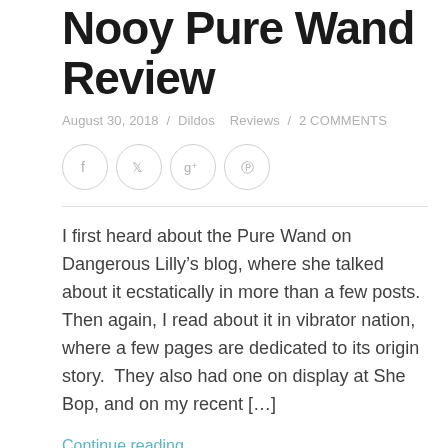Nooy Pure Wand Review
August 30, 2018 / Dildos   Reviews / 2 COMMENTS
[Figure (other): Social share icons: Facebook, Twitter, Google+, Pinterest — circular outline buttons]
I first heard about the Pure Wand on Dangerous Lilly’s blog, where she talked about it ecstatically in more than a few posts.  Then again, I read about it in vibrator nation, where a few pages are dedicated to its origin story.  They also had one on display at She Bop, and on my recent […]
Continue reading